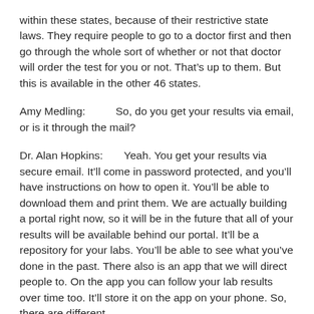within these states, because of their restrictive state laws. They require people to go to a doctor first and then go through the whole sort of whether or not that doctor will order the test for you or not. That's up to them. But this is available in the other 46 states.
Amy Medling:          So, do you get your results via email, or is it through the mail?
Dr. Alan Hopkins:       Yeah. You get your results via secure email. It'll come in password protected, and you'll have instructions on how to open it. You'll be able to download them and print them. We are actually building a portal right now, so it will be in the future that all of your results will be available behind our portal. It'll be a repository for your labs. You'll be able to see what you've done in the past. There also is an app that we will direct people to. On the app you can follow your lab results over time too. It'll store it on the app on your phone. So, there are different